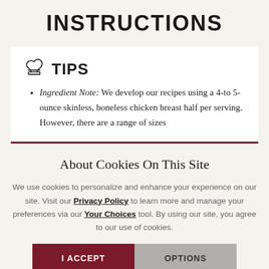INSTRUCTIONS
TIPS
Ingredient Note: We develop our recipes using a 4-to 5-ounce skinless, boneless chicken breast half per serving. However, there are a range of sizes
About Cookies On This Site
We use cookies to personalize and enhance your experience on our site. Visit our Privacy Policy to learn more and manage your preferences via our Your Choices tool. By using our site, you agree to our use of cookies.
I ACCEPT | OPTIONS